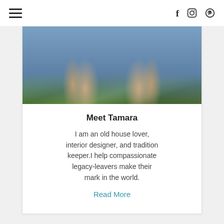≡  f  ⊙  ⊕
[Figure (photo): Photo of two people from the waist down, wearing denim shorts, standing in a green mossy outdoor setting]
Meet Tamara
I am an old house lover, interior designer, and tradition keeper.I help compassionate legacy-leavers make their mark in the world.
Read More